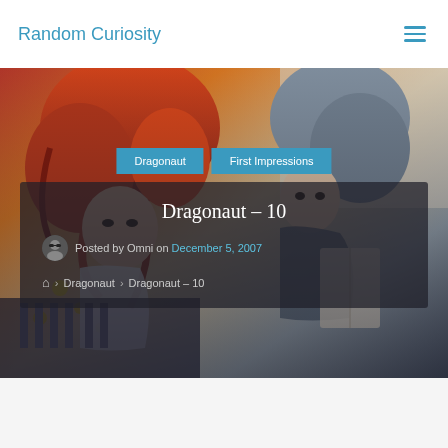Random Curiosity
[Figure (illustration): Anime-style illustration of characters with red/orange hair and gray tones as hero banner background]
Dragonaut
First Impressions
Dragonaut – 10
Posted by Omni on December 5, 2007
🏠 › Dragonaut › Dragonaut – 10